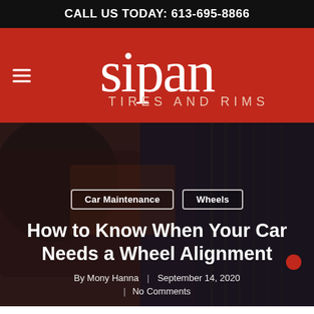CALL US TODAY: 613-695-8866
[Figure (logo): Sipan Tires and Rims logo on red background with hamburger menu icon]
[Figure (photo): Mechanic working on a car wheel/tire in a dark, dramatic lighting setting]
Car Maintenance   Wheels
How to Know When Your Car Needs a Wheel Alignment
By Mony Hanna | September 14, 2020
| No Comments